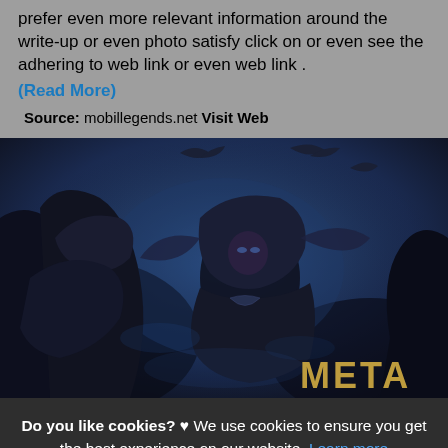prefer even more relevant information around the write-up or even photo satisfy click on or even see the adhering to web link or even web link .
(Read More)
Source: mobillegends.net Visit Web
[Figure (illustration): Dark fantasy game character in armored cloak with the word META partially visible in golden letters at bottom right, blue atmospheric background with flying creatures.]
Do you like cookies? ♥ We use cookies to ensure you get the best experience on our website. Learn more
I agree